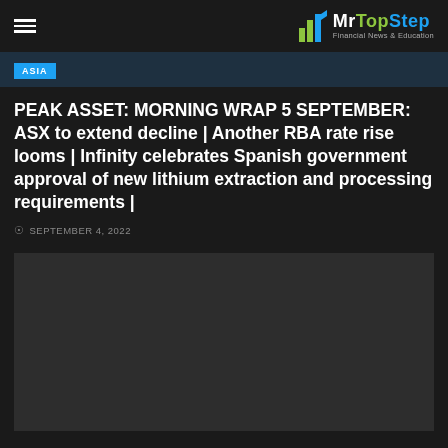MrTopStep Financial News & Education
ASIA
PEAK ASSET: MORNING WRAP 5 SEPTEMBER: ASX to extend decline | Another RBA rate rise looms | Infinity celebrates Spanish government approval of new lithium extraction and processing requirements |
SEPTEMBER 4, 2022
[Figure (photo): Dark placeholder image area below the article header]